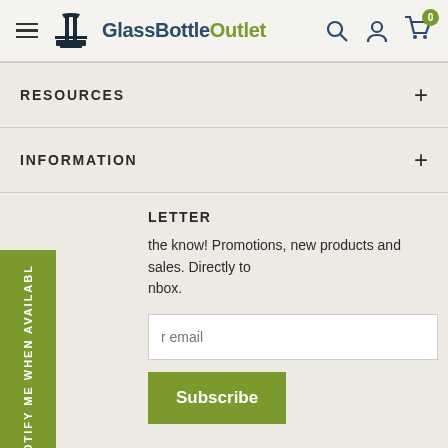GlassBottleOutlet
RESOURCES
INFORMATION
NEWSLETTER
the know! Promotions, new products and sales. Directly to inbox.
your email
Subscribe
NOTIFY ME WHEN AVAILABLE